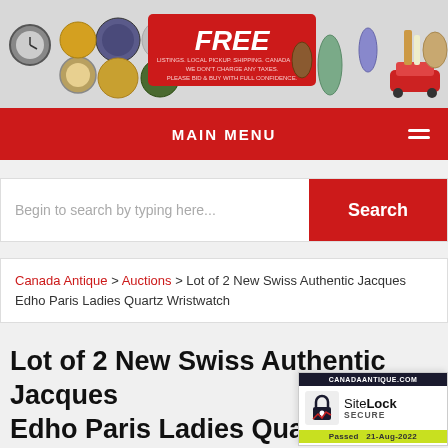[Figure (screenshot): Website banner showing antique items (watches, coins, figurines, vases, car) with a red FREE box overlay stating free listings, local pickup, shipping Canada & US, no taxes.]
MAIN MENU
Begin to search by typing here...  Search
Canada Antique > Auctions > Lot of 2 New Swiss Authentic Jacques Edho Paris Ladies Quartz Wristwatch
Lot of 2 New Swiss Authentic Jacques Edho Paris Ladies Quartz Wristw
[Figure (logo): SiteLock Secure badge with CANADAANTIQUE.COM label, passed 21-Aug-2022]